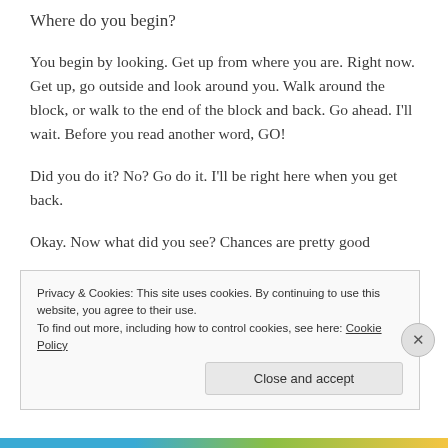Where do you begin?
You begin by looking. Get up from where you are. Right now. Get up, go outside and look around you. Walk around the block, or walk to the end of the block and back. Go ahead. I'll wait. Before you read another word, GO!
Did you do it? No? Go do it. I'll be right here when you get back.
Okay. Now what did you see? Chances are pretty good
Privacy & Cookies: This site uses cookies. By continuing to use this website, you agree to their use.
To find out more, including how to control cookies, see here: Cookie Policy
Close and accept